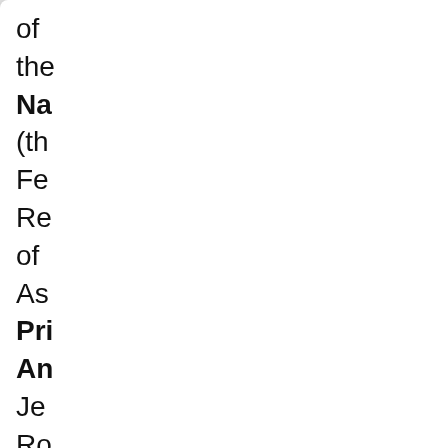of the Na (the Fe Re of As
Pri An Jer Ro
Str Ce Co 157
Nu of Gu 5
[Figure (other): Le button and circle icon at bottom of card]
[Figure (other): Bottom card with flag image and quote text beginning]